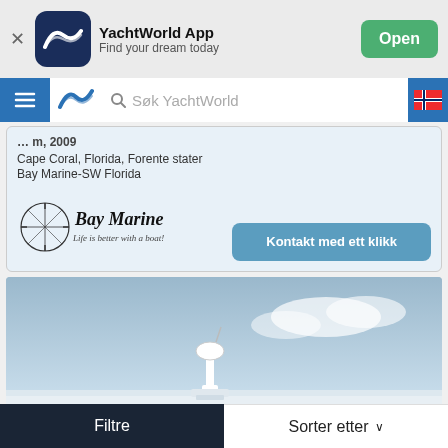[Figure (screenshot): YachtWorld App banner with dark blue icon, app name, tagline and green Open button]
[Figure (screenshot): Navigation bar with hamburger menu, YachtWorld logo, search field 'Søk YachtWorld', and Norwegian flag]
Cape Coral, Florida, Forente stater
Bay Marine-SW Florida
[Figure (logo): Bay Marine logo - compass rose with text 'Bay Marine' and tagline 'Life is better with a boat!']
Kontakt med ett klikk
[Figure (photo): Boat deck photo showing radar/communications equipment against a blue sky]
Filtre
Sorter etter